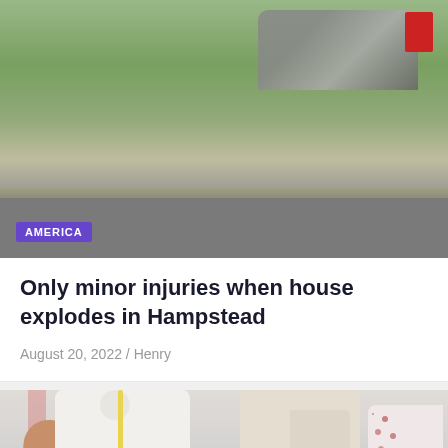[Figure (photo): Aerial or street view photo of a house explosion scene in Hampstead, showing debris and a road with green landscape. An 'AMERICA' category badge overlays the bottom-left of the image.]
Only minor injuries when house explodes in Hampstead
August 20, 2022 / Henry
[Figure (photo): Photo of people standing outdoors. On the left, a person in a white shirt with a yellow lanyard and badge, wearing jeans. In the center, a person in a cream/white suit. On the right, partial view of a person in a floral top. A red scroll-to-top button is visible on the right side. A purple category badge is visible at the bottom left.]